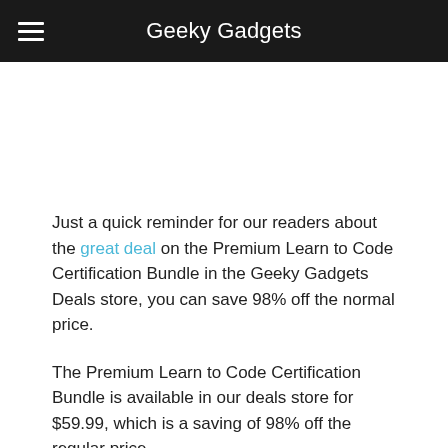Geeky Gadgets
Just a quick reminder for our readers about the great deal on the Premium Learn to Code Certification Bundle in the Geeky Gadgets Deals store, you can save 98% off the normal price.
The Premium Learn to Code Certification Bundle is available in our deals store for $59.99, which is a saving of 98% off the regular price.
The JavaScript Beginner Bootcamp is your one-stop shop when it comes to learning the language of JavaScript. The course starts